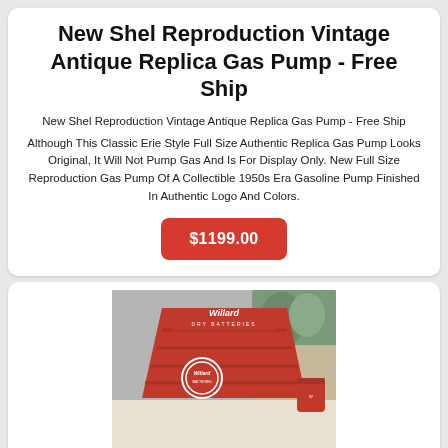New Shel Reproduction Vintage Antique Replica Gas Pump - Free Ship
New Shel Reproduction Vintage Antique Replica Gas Pump - Free Ship
Although This Classic Erie Style Full Size Authentic Replica Gas Pump Looks Original, It Will Not Pump Gas And Is For Display Only. New Full Size Reproduction Gas Pump Of A Collectible 1950s Era Gasoline Pump Finished In Authentic Logo And Colors.
$1199.00
[Figure (photo): Red Willard Dry Batteries display stand/rack, a vintage collectible item, shown on a white surface with background clutter]